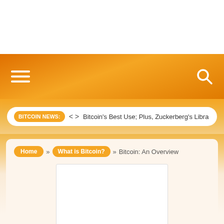BITCOIN NEWS: Bitcoin's Best Use; Plus, Zuckerberg's Libra
Home » What is Bitcoin? » Bitcoin: An Overview
[Figure (other): Blank white image placeholder for Bitcoin: An Overview article]
[Figure (other): Social sharing buttons: Facebook, Twitter, Pinterest, Google+]